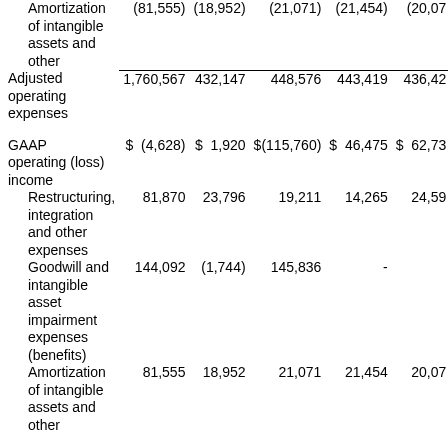|  | Total | Q4 | Q3 | Q2 | Q1 |
| --- | --- | --- | --- | --- | --- |
| Amortization of intangible assets and other | (81,555) | (18,952) | (21,071) | (21,454) | (20,07… |
| Adjusted operating expenses | 1,760,567 | 432,147 | 448,576 | 443,419 | 436,42… |
| GAAP operating (loss) income | $(4,628) | $1,920 | $(115,760) | $46,475 | $62,73… |
| Restructuring, integration and other expenses | 81,870 | 23,796 | 19,211 | 14,265 | 24,59… |
| Goodwill and intangible asset impairment expenses (benefits) | 144,092 | (1,744) | 145,836 | - |  |
| Amortization of intangible assets and other | 81,555 | 18,952 | 21,071 | 21,454 | 20,07… |